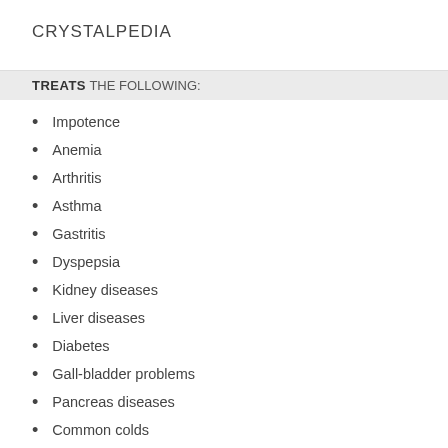CRYSTALPEDIA
TREATS THE FOLLOWING:
Impotence
Anemia
Arthritis
Asthma
Gastritis
Dyspepsia
Kidney diseases
Liver diseases
Diabetes
Gall-bladder problems
Pancreas diseases
Common colds
Cardiovascular diseases
Cholecystitis